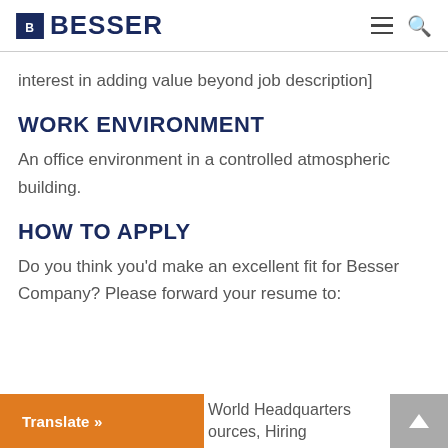BESSER
interest in adding value beyond job description]
WORK ENVIRONMENT
An office environment in a controlled atmospheric building.
HOW TO APPLY
Do you think you'd make an excellent fit for Besser Company? Please forward your resume to:
World Headquarters
Human Resources, Hiring